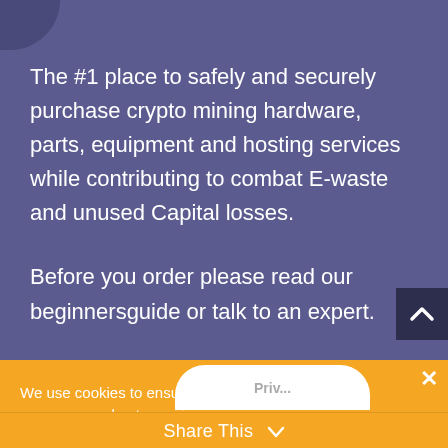The #1 place to safely and securely purchase crypto mining hardware, parts, equipment and hosting services while contributing to combat E-waste and unused Capital losses.
Before you order please read our beginnersguide or talk to an expert.
Talk to an expert
We use cookies to ensure that we give you the best experience on
Share This